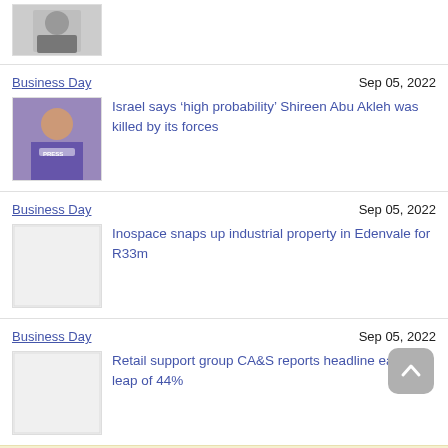[Figure (photo): Partial thumbnail of a person at top of page]
Business Day
Sep 05, 2022
[Figure (photo): Photo of Shireen Abu Akleh in press vest]
Israel says ‘high probability’ Shireen Abu Akleh was killed by its forces
Business Day
Sep 05, 2022
[Figure (photo): Blank/placeholder thumbnail for Inospace article]
Inospace snaps up industrial property in Edenvale for R33m
Business Day
Sep 05, 2022
[Figure (photo): Placeholder thumbnail for CA&S article]
Retail support group CA&S reports headline earnings leap of 44%
I understand
Read also